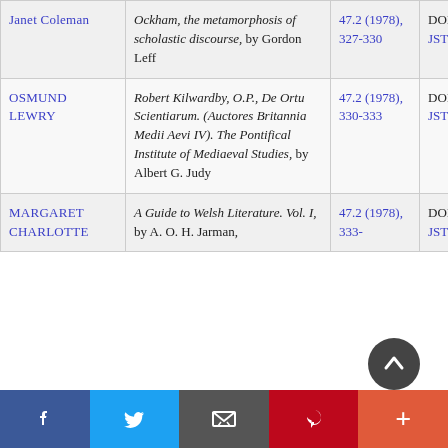| Author | Title | Volume/Pages | DOI/Link |
| --- | --- | --- | --- |
| Janet Coleman | Ockham, the metamorphosis of scholastic discourse, by Gordon Leff | 47.2 (1978), 327-330 | DOI:10.2307/4363… JSTOR |
| OSMUND LEWRY | Robert Kilwardby, O.P., De Ortu Scientiarum. (Auctores Britannia Medii Aevi IV). The Pontifical Institute of Mediaeval Studies, by Albert G. Judy | 47.2 (1978), 330-333 | DOI:10.2307/4363… JSTOR |
| MARGARET CHARLOTTE | A Guide to Welsh Literature. Vol. I, by A. O. H. Jarman, | 47.2 (1978), 333- | DOI:10.2307/4363… JSTOR |